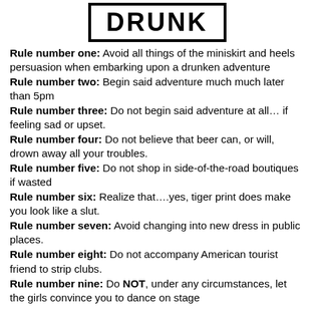[Figure (other): Logo/sign with bold text 'DRUNK' inside a rectangular border]
Rule number one: Avoid all things of the miniskirt and heels persuasion when embarking upon a drunken adventure
Rule number two: Begin said adventure much much later than 5pm
Rule number three: Do not begin said adventure at all… if feeling sad or upset.
Rule number four: Do not believe that beer can, or will, drown away all your troubles.
Rule number five: Do not shop in side-of-the-road boutiques if wasted
Rule number six: Realize that….yes, tiger print does make you look like a slut.
Rule number seven: Avoid changing into new dress in public places.
Rule number eight: Do not accompany American tourist friend to strip clubs.
Rule number nine: Do NOT, under any circumstances, let the girls convince you to dance on stage